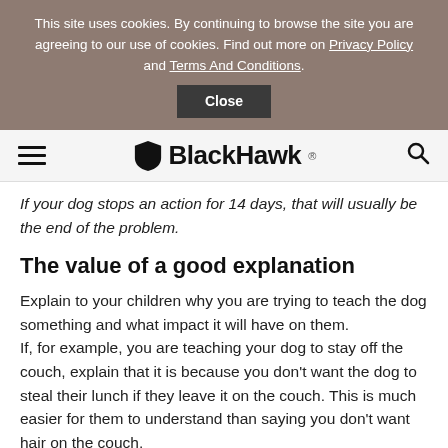This site uses cookies. By continuing to browse the site you are agreeing to our use of cookies. Find out more on Privacy Policy and Terms And Conditions. Close
BlackHawk
If your dog stops an action for 14 days, that will usually be the end of the problem.
The value of a good explanation
Explain to your children why you are trying to teach the dog something and what impact it will have on them.
If, for example, you are teaching your dog to stay off the couch, explain that it is because you don't want the dog to steal their lunch if they leave it on the couch. This is much easier for them to understand than saying you don't want hair on the couch.
Training and treats
When you are explaining the commands to a child, don't worry